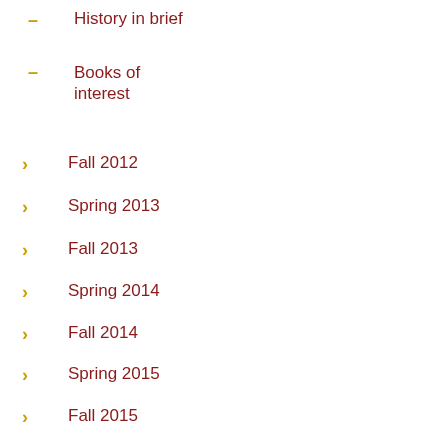History in brief
Books of interest
Fall 2012
Spring 2013
Fall 2013
Spring 2014
Fall 2014
Spring 2015
Fall 2015
Spring 2016
Fall 2016
Spring 2017
Fall 2017
Spring 2018
Fall 2018